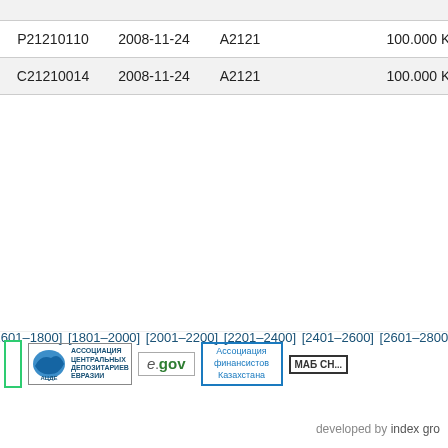|  | date | rating |  | nominal | issuer |
| --- | --- | --- | --- | --- | --- |
| P21210110 | 2008-11-24 | A2121 |  | 100.000 KZT | EPXX |
| C21210014 | 2008-11-24 | A2121 |  | 100.000 KZT | ESXX |
[1601–1800] [1801–2000] [2001–2200] [2201–2400] [2401–2600] [2601–2800] [...] [6001–6...
[Figure (logo): Footer logos: ACDE (Ассоциация Центральных Депозитариев Евразии), e.gov, Ассоциация финансистов Казахстана, МАБ СНГ]
developed by index gro...